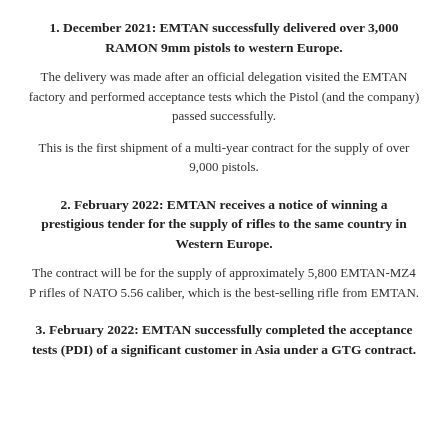1. December 2021: EMTAN successfully delivered over 3,000 RAMON 9mm pistols to western Europe.
The delivery was made after an official delegation visited the EMTAN factory and performed acceptance tests which the Pistol (and the company) passed successfully.
This is the first shipment of a multi-year contract for the supply of over 9,000 pistols.
2. February 2022: EMTAN receives a notice of winning a prestigious tender for the supply of rifles to the same country in Western Europe.
The contract will be for the supply of approximately 5,800 EMTAN-MZ4 P rifles of NATO 5.56 caliber, which is the best-selling rifle from EMTAN.
3. February 2022: EMTAN successfully completed the acceptance tests (PDI) of a significant customer in Asia under a GTG contract.